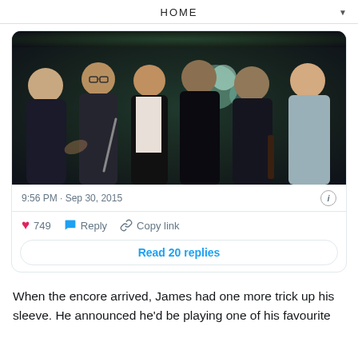HOME
[Figure (screenshot): A tweet card showing a group photo of six people posing together at what appears to be a music event. The photo is dark with stage lighting. Below the photo: timestamp '9:56 PM · Sep 30, 2015', an info icon, 749 likes, Reply, Copy link actions, and a 'Read 20 replies' button.]
When the encore arrived, James had one more trick up his sleeve. He announced he'd be playing one of his favourite